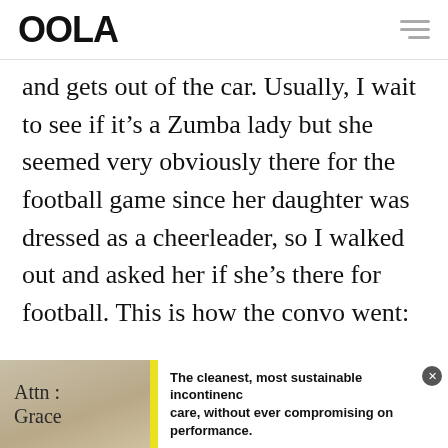OOLA
and gets out of the car. Usually, I wait to see if it’s a Zumba lady but she seemed very obviously there for the football game since her daughter was dressed as a cheerleader, so I walked out and asked her if she’s there for football. This is how the convo went:
- ADVERTISEMENT - CONTINUE READING BELOW -
[Figure (other): Advertisement banner placeholder (gray box)]
[Figure (other): Bottom advertisement banner for Attn: Grace incontinence care product with yellow accent bar. Text: The cleanest, most sustainable incontinence care, without ever compromising on performance.]